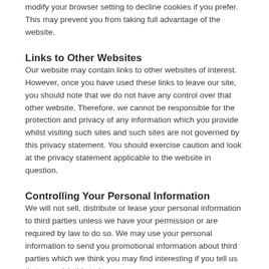modify your browser setting to decline cookies if you prefer. This may prevent you from taking full advantage of the website.
Links to Other Websites
Our website may contain links to other websites of interest. However, once you have used these links to leave our site, you should note that we do not have any control over that other website. Therefore, we cannot be responsible for the protection and privacy of any information which you provide whilst visiting such sites and such sites are not governed by this privacy statement. You should exercise caution and look at the privacy statement applicable to the website in question.
Controlling Your Personal Information
We will not sell, distribute or lease your personal information to third parties unless we have your permission or are required by law to do so. We may use your personal information to send you promotional information about third parties which we think you may find interesting if you tell us that you wish this to happen.